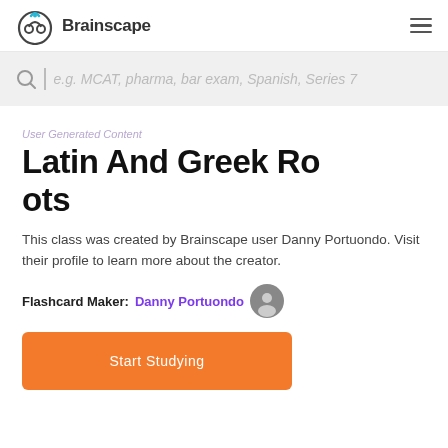Brainscape
e.g. MCAT, pharma, bar exam, Spanish, Series 7
User Generated Content
Latin And Greek Roots
This class was created by Brainscape user Danny Portuondo. Visit their profile to learn more about the creator.
Flashcard Maker: Danny Portuondo
[Figure (other): Orange 'Start Studying' button]